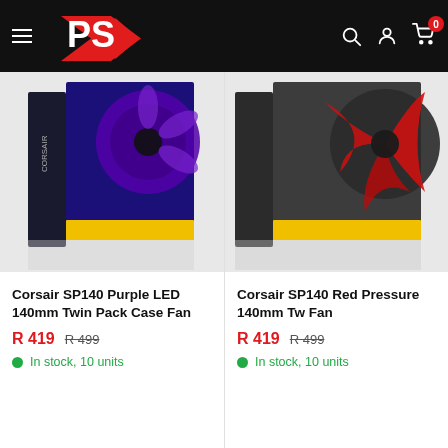Platinum Selection — Navigation header with logo, search, account, and cart icons
[Figure (photo): Product photo of Corsair SP140 Purple LED 140mm Twin Pack Case Fan box packaging]
Corsair SP140 Purple LED 140mm Twin Pack Case Fan
R 419   R 499
In stock, 10 units
[Figure (photo): Product photo of Corsair SP140 Red High Static Pressure 140mm Twin Pack Case Fan box packaging, partially visible]
Corsair SP140 Red Pressure 140mm Tw Fan
R 419   R 499
In stock, 10 units